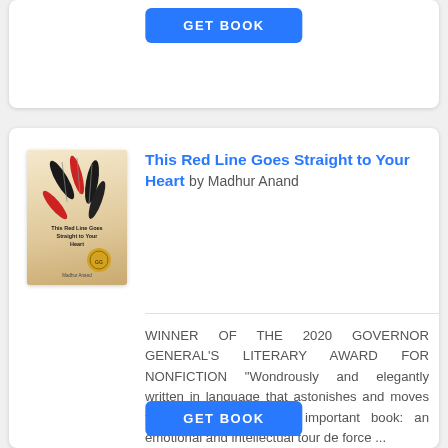[Figure (screenshot): Partial top card showing a GET BOOK button in blue]
[Figure (illustration): Book cover thumbnail for 'This Red Line Goes Straight to Your Heart' by Madhur Anand, showing feathers on a beige/cream background]
This Red Line Goes Straight to Your Heart by Madhur Anand
WINNER OF THE 2020 GOVERNOR GENERAL'S LITERARY AWARD FOR NONFICTION “Wondrously and elegantly written in language that astonishes and moves the reader...This is an important book: an emotional and intellectual tour de force ...